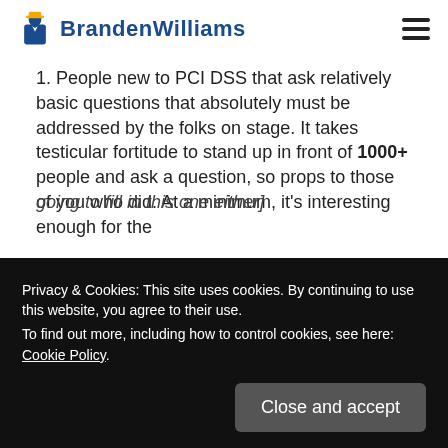Branden Williams
1. People new to PCI DSS that ask relatively basic questions that absolutely must be addressed by the folks on stage. It takes testicular fortitude to stand up in front of 1000+ people and ask a question, so props to those of you who did. At a minimum, it's interesting enough for the
going to fill in this one either]
Privacy & Cookies: This site uses cookies. By continuing to use this website, you agree to their use.
To find out more, including how to control cookies, see here: Cookie Policy
Close and accept